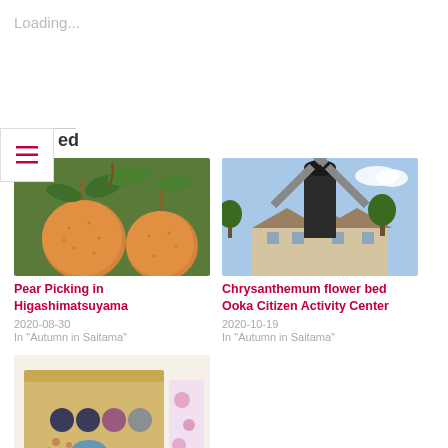Loading...
ed
[Figure (photo): Close-up of orange pears (nashi/Asian pears) hanging from a tree with green leaves]
Pear Picking in Higashimatsuyama
2020-08-30
In "Autumn in Saitama"
[Figure (photo): A traditional windmill with a dark body against a blue sky, with European-style buildings behind it]
Chrysanthemum flower bed Ooka Citizen Activity Center
2020-10-19
In "Autumn in Saitama"
[Figure (photo): A cardboard box craft with colorful circular dots/eyes painted on it, craft activity for children]
A particularly nice jidokan for...